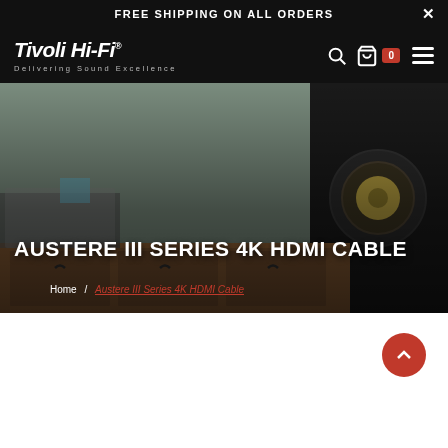FREE SHIPPING ON ALL ORDERS
[Figure (screenshot): Tivoli Hi-Fi website navigation bar with logo, search icon, bag icon with cart count 0, and hamburger menu on black background]
[Figure (photo): Hero image showing audio speakers in a living room setting with wooden furniture]
AUSTERE III SERIES 4K HDMI CABLE
Home / Austere III Series 4K HDMI Cable